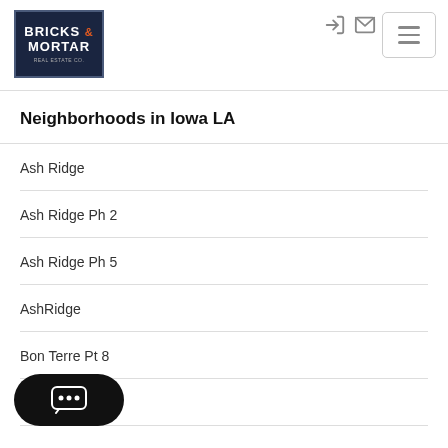[Figure (logo): Bricks & Mortar Real Estate Co. logo — dark navy blue background with white bold text and orange ampersand]
Neighborhoods in Iowa LA
Ash Ridge
Ash Ridge Ph 2
Ash Ridge Ph 5
AshRidge
Bon Terre Pt 8
…anch